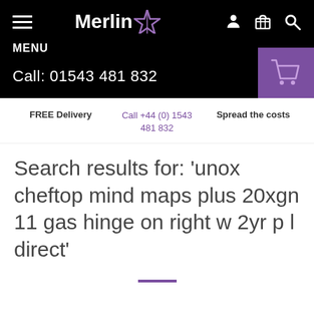MENU | Call: 01543 481 832 | Merlin (logo)
FREE Delivery
Call +44 (0) 1543 481 832
Spread the costs
Search results for: 'unox cheftop mind maps plus 20xgn 11 gas hinge on right w 2yr p l direct'